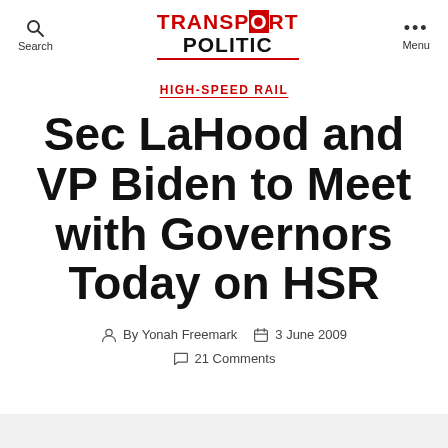Search | TRANSPORTPOLITIC | Menu
HIGH-SPEED RAIL
Sec LaHood and VP Biden to Meet with Governors Today on HSR
By Yonah Freemark   3 June 2009
21 Comments